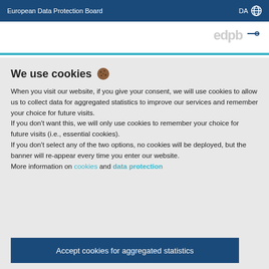European Data Protection Board   DA 🌐
We use cookies 🍪
When you visit our website, if you give your consent, we will use cookies to allow us to collect data for aggregated statistics to improve our services and remember your choice for future visits.
If you don't want this, we will only use cookies to remember your choice for future visits (i.e., essential cookies).
If you don't select any of the two options, no cookies will be deployed, but the banner will re-appear every time you enter our website.
More information on cookies and data protection
Accept cookies for aggregated statistics